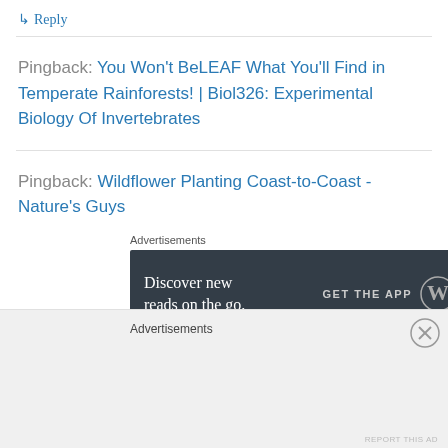↳ Reply
Pingback: You Won't BeLEAF What You'll Find in Temperate Rainforests! | Biol326: Experimental Biology Of Invertebrates
Pingback: Wildflower Planting Coast-to-Coast - Nature's Guys
[Figure (screenshot): Advertisement banner: 'Discover new reads on the go. GET THE APP' with WordPress logo on dark background]
REPORT THIS AD
Advertisements
REPORT THIS AD